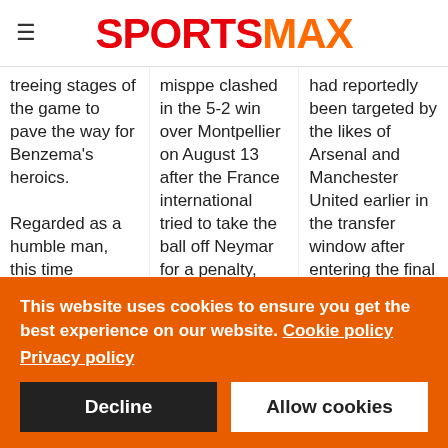SPORTSMAX
treeing stages of the game to pave the way for Benzema's heroics.
Regarded as a humble man, this time Ancelotti was happy to take
misppe clashed in the 5-2 win over Montpellier on August 13 after the France international tried to take the ball off Neymar for a penalty, having
had reportedly been targeted by the likes of Arsenal and Manchester United earlier in the transfer window after entering the final two years of his
This website uses cookies to ensure you get the best experience on our website. Cookie policy
Privacy policy
Decline
Allow cookies